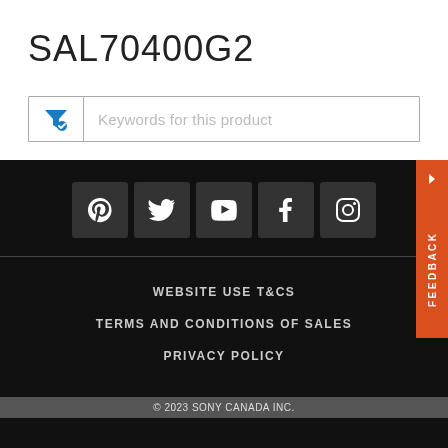SAL70400G2
Keywords for this product
[Figure (screenshot): Social media icons row: Pinterest, Twitter, YouTube, Facebook, Instagram on dark background]
WEBSITE USE T&CS
TERMS AND CONDITIONS OF SALES
PRIVACY POLICY
© 2023 SONY CANADA INC.
Contact Support   Parts & Repair